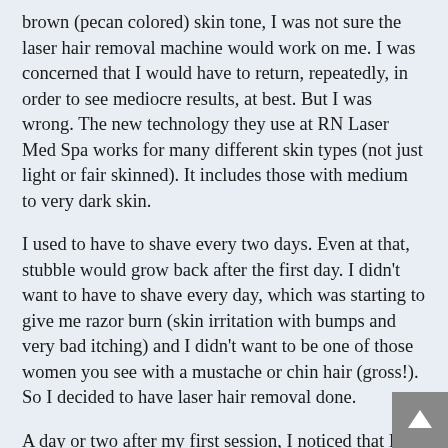brown (pecan colored) skin tone, I was not sure the laser hair removal machine would work on me. I was concerned that I would have to return, repeatedly, in order to see mediocre results, at best. But I was wrong. The new technology they use at RN Laser Med Spa works for many different skin types (not just light or fair skinned). It includes those with medium to very dark skin.
I used to have to shave every two days. Even at that, stubble would grow back after the first day. I didn't want to have to shave every day, which was starting to give me razor burn (skin irritation with bumps and very bad itching) and I didn't want to be one of those women you see with a mustache or chin hair (gross!). So I decided to have laser hair removal done.
A day or two after my first session, I noticed that I had some fuzz above my lip and on my chin, but with a facial scrub, it came right off. By the time I went to my second appointment I had not shaved for seven days. I could only really notice some stubble on one small area of my chin. After that session my face was so smooth and it